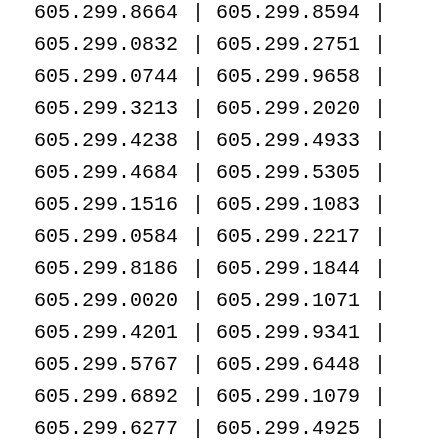| Col1 | Col2 |
| --- | --- |
| 605.299.8664 | 605.299.8594 |
| 605.299.0832 | 605.299.2751 |
| 605.299.0744 | 605.299.9658 |
| 605.299.3213 | 605.299.2020 |
| 605.299.4238 | 605.299.4933 |
| 605.299.4684 | 605.299.5305 |
| 605.299.1516 | 605.299.1083 |
| 605.299.0584 | 605.299.2217 |
| 605.299.8186 | 605.299.1844 |
| 605.299.0020 | 605.299.1071 |
| 605.299.4201 | 605.299.9341 |
| 605.299.5767 | 605.299.6448 |
| 605.299.6892 | 605.299.1079 |
| 605.299.6277 | 605.299.4925 |
| 605.299.7498 | 605.299.0352 |
| 605.299.1353 | 605.299.1623 |
| 605.299.7335 | 605.299.2331 |
| 605.299.5062 | 605.299.4604 |